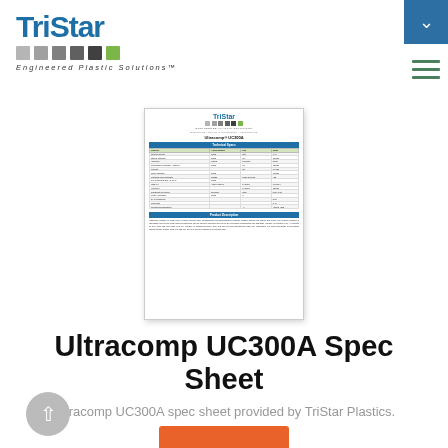[Figure (logo): TriStar Engineered Plastic Solutions logo with colored squares and tagline]
[Figure (screenshot): Thumbnail of Ultracomp UC300A Spec Sheet document showing TriStar logo, technical specs table, and product description section]
Ultracomp UC300A Spec Sheet
Ultracomp UC300A spec sheet provided by TriStar Plastics.